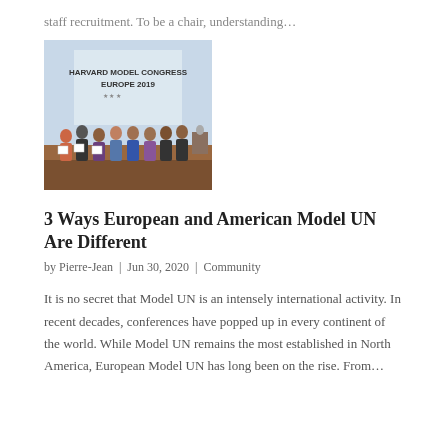staff recruitment. To be a chair, understanding…
[Figure (photo): Group photo on stage at Harvard Model Congress Europe 2019. A screen in the background reads 'HARVARD MODEL CONGRESS EUROPE 2019'. About ten students stand on stage, some holding certificates.]
3 Ways European and American Model UN Are Different
by Pierre-Jean | Jun 30, 2020 | Community
It is no secret that Model UN is an intensely international activity. In recent decades, conferences have popped up in every continent of the world. While Model UN remains the most established in North America, European Model UN has long been on the rise. From…